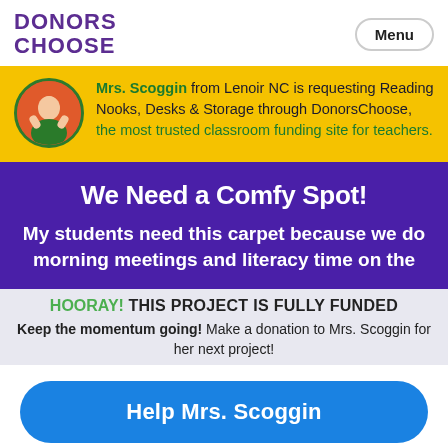DONORS CHOOSE | Menu
Mrs. Scoggin from Lenoir NC is requesting Reading Nooks, Desks & Storage through DonorsChoose, the most trusted classroom funding site for teachers.
We Need a Comfy Spot!
My students need this carpet because we do morning meetings and literacy time on the
HOORAY! THIS PROJECT IS FULLY FUNDED
Keep the momentum going! Make a donation to Mrs. Scoggin for her next project!
Help Mrs. Scoggin